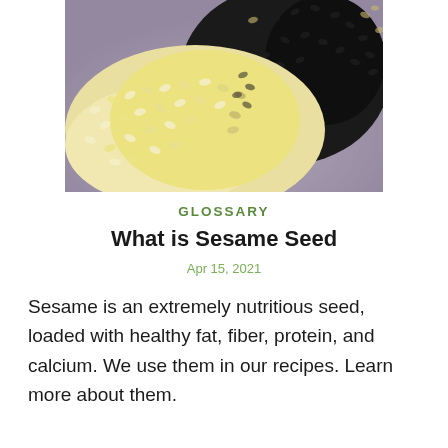[Figure (photo): Close-up photo of white/cream sesame seeds and black sesame seeds piled together on a gray surface, forming a yin-yang-like pattern.]
GLOSSARY
What is Sesame Seed
Apr 15, 2021
Sesame is an extremely nutritious seed, loaded with healthy fat, fiber, protein, and calcium. We use them in our recipes. Learn more about them.